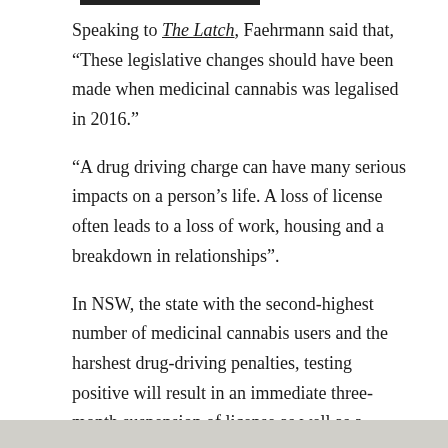Speaking to The Latch, Faehrmann said that, “These legislative changes should have been made when medicinal cannabis was legalised in 2016.”
“A drug driving charge can have many serious impacts on a person’s life. A loss of license often leads to a loss of work, housing and a breakdown in relationships”.
In NSW, the state with the second-highest number of medicinal cannabis users and the harshest drug-driving penalties, testing positive will result in an immediate three-month suspension of license as well as a maximum fine of $2,000.
“The NSW Roadside Drug Testing Regime forces